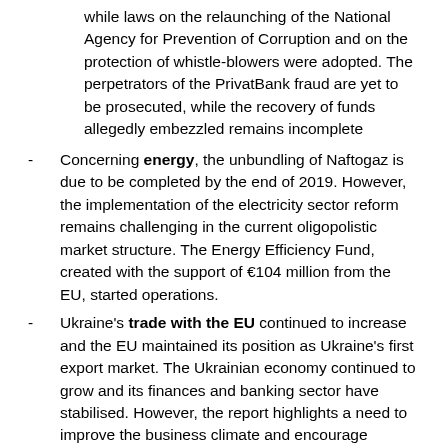while laws on the relaunching of the National Agency for Prevention of Corruption and on the protection of whistle-blowers were adopted. The perpetrators of the PrivatBank fraud are yet to be prosecuted, while the recovery of funds allegedly embezzled remains incomplete
Concerning energy, the unbundling of Naftogaz is due to be completed by the end of 2019. However, the implementation of the electricity sector reform remains challenging in the current oligopolistic market structure. The Energy Efficiency Fund, created with the support of €104 million from the EU, started operations.
Ukraine's trade with the EU continued to increase and the EU maintained its position as Ukraine's first export market. The Ukrainian economy continued to grow and its finances and banking sector have stabilised. However, the report highlights a need to improve the business climate and encourage